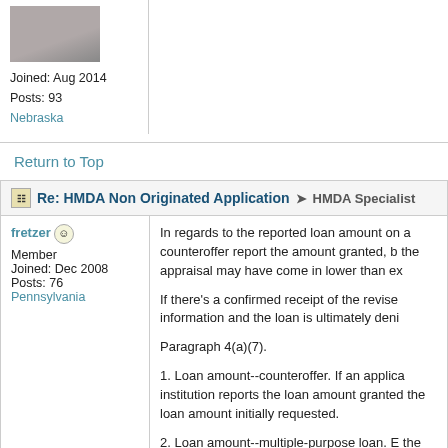[Figure (photo): Profile photo of a user, partially cropped, showing a person in a gray shirt]
Joined: Aug 2014
Posts: 93
Nebraska
Return to Top
Re: HMDA Non Originated Application → HMDA Specialist
fretzer
Member
Joined: Dec 2008
Posts: 76
Pennsylvania
In regards to the reported loan amount on a counteroffer report the amount granted, but the appraisal may have come in lower than ex...
If there's a confirmed receipt of the revised information and the loan is ultimately deni...
Paragraph 4(a)(7).
1. Loan amount--counteroffer. If an applicant institution reports the loan amount granted the loan amount initially requested.
2. Loan amount--multiple-purpose loan. E the loan, even if only a part of the proceed...
3. Loan amount--home-equity line. An inst...